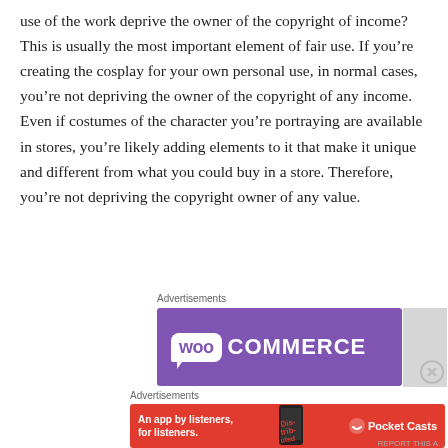use of the work deprive the owner of the copyright of income? This is usually the most important element of fair use. If you’re creating the cosplay for your own personal use, in normal cases, you’re not depriving the owner of the copyright of any income. Even if costumes of the character you’re portraying are available in stores, you’re likely adding elements to it that make it unique and different from what you could buy in a store. Therefore, you’re not depriving the copyright owner of any value.
[Figure (other): WooCommerce advertisement banner with purple background and WooCommerce logo in white]
[Figure (other): Pocket Casts advertisement banner: 'An app by listeners, for listeners.' on red background with phone image]